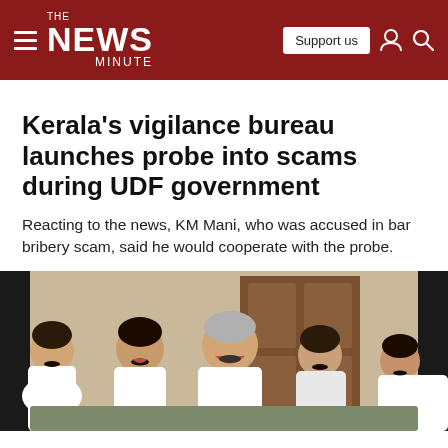The News Minute
Kerala's vigilance bureau launches probe into scams during UDF government
Reacting to the news, KM Mani, who was accused in bar bribery scam, said he would cooperate with the probe.
[Figure (photo): Group of five men in white shirts sitting together, laughing]